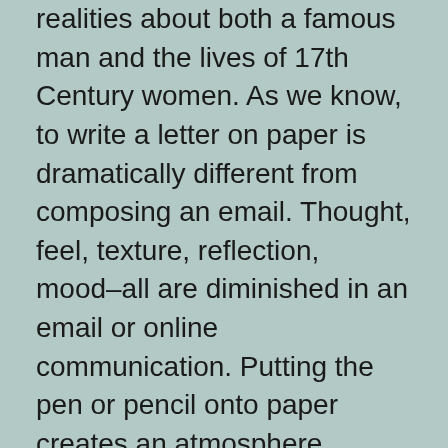realities about both a famous man and the lives of 17th Century women. As we know, to write a letter on paper is dramatically different from composing an email. Thought, feel, texture, reflection, mood–all are diminished in an email or online communication. Putting the pen or pencil onto paper creates an atmosphere between author and recipient that can't be replicated in other formats.
In the basement, in a couple of boxes, I have stacks of letters and notes from earlier in my lifetime. I haven't added to those stacks in recent years. And part of me is sorry my kids